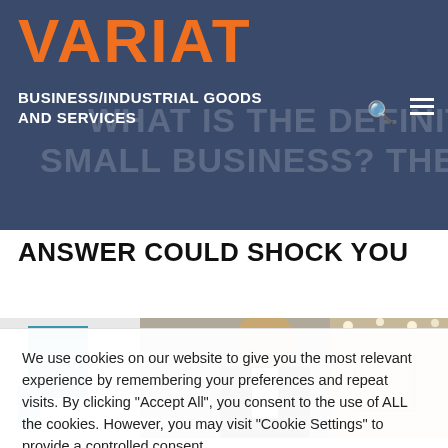VARIAT
BUSINESS/INDUSTRIAL GOODS AND SERVICES
WHAT IS THE DEFINITION OF A SMALL BUSINESS? THE ANSWER COULD SHOCK YOU
[Figure (photo): Photo of a smiling businessman in a suit, standing in an office or conference room with recessed ceiling lights. Abstract artwork visible in background on right side.]
We use cookies on our website to give you the most relevant experience by remembering your preferences and repeat visits. By clicking "Accept All", you consent to the use of ALL the cookies. However, you may visit "Cookie Settings" to provide a controlled consent.
Cookie Settings    Accept All